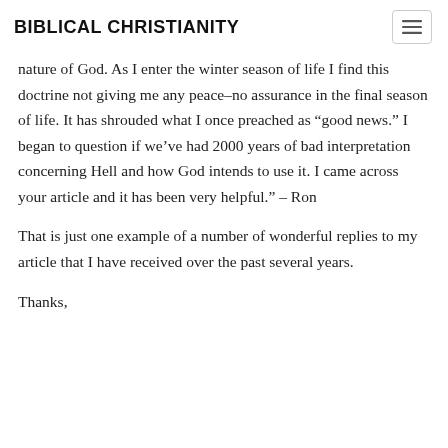BIBLICAL CHRISTIANITY
nature of God. As I enter the winter season of life I find this doctrine not giving me any peace–no assurance in the final season of life. It has shrouded what I once preached as “good news.” I began to question if we’ve had 2000 years of bad interpretation concerning Hell and how God intends to use it. I came across your article and it has been very helpful.” – Ron
That is just one example of a number of wonderful replies to my article that I have received over the past several years.
Thanks,